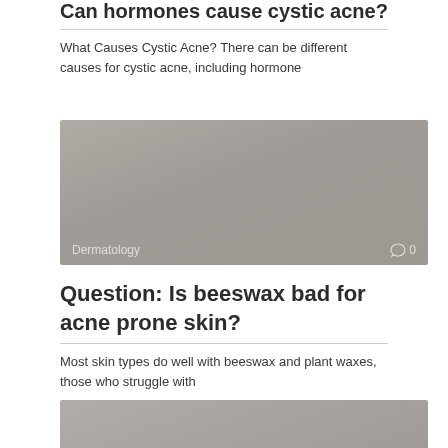Can hormones cause cystic acne?
What Causes Cystic Acne? There can be different causes for cystic acne, including hormone
[Figure (photo): Gray placeholder image card with Dermatology category label and comment icon showing 0 comments]
Question: Is beeswax bad for acne prone skin?
Most skin types do well with beeswax and plant waxes, those who struggle with
[Figure (photo): Gray placeholder image card at bottom of page]